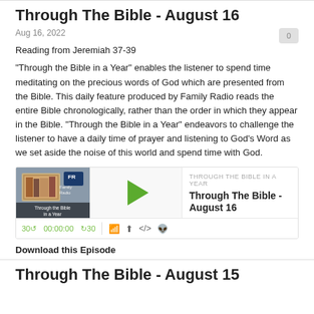Through The Bible - August 16
Aug 16, 2022
Reading from Jeremiah 37-39
“Through the Bible in a Year” enables the listener to spend time meditating on the precious words of God which are presented from the Bible.  This daily feature produced by Family Radio reads the entire Bible chronologically, rather than the order in which they appear in the Bible.  “Through the Bible in a Year” endeavors to challenge the listener to have a daily time of prayer and listening to God’s Word as we set aside the noise of this world and spend time with God.
[Figure (screenshot): Podcast audio player widget showing Through The Bible - August 16 episode with album art, play button, progress bar, and controls including skip back 30, time 00:00:00, skip forward 30, and icons for cast, download, embed, and cookie.]
Download this Episode
Through The Bible - August 15